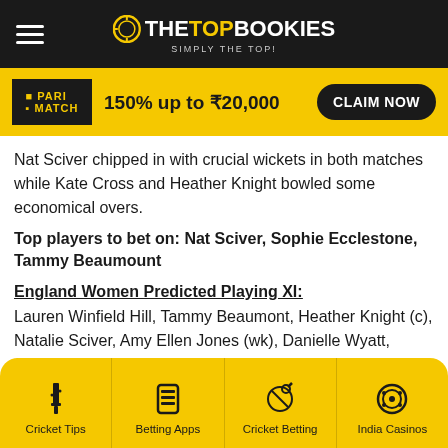THE TOP BOOKIES - SIMPLY THE TOP!
[Figure (screenshot): Parimatch banner: 150% up to ₹20,000 CLAIM NOW]
Nat Sciver chipped in with crucial wickets in both matches while Kate Cross and Heather Knight bowled some economical overs.
Top players to bet on: Nat Sciver, Sophie Ecclestone, Tammy Beaumount
England Women Predicted Playing XI:
Lauren Winfield Hill, Tammy Beaumont, Heather Knight (c), Natalie Sciver, Amy Ellen Jones (wk), Danielle Wyatt, Sophia Dunkley, Katherine Brunt, Sophie Ecclestone, Kate Cross, Anya Shrubsole
Cricket Tips | Betting Apps | Cricket Betting | India Casinos